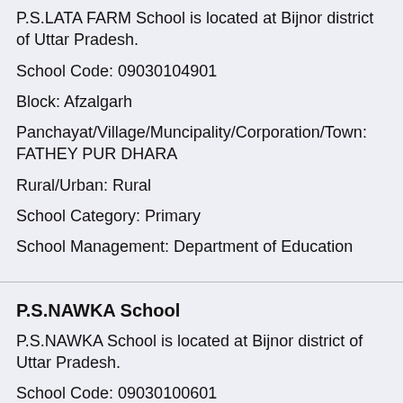P.S.LATA FARM School is located at Bijnor district of Uttar Pradesh.
School Code: 09030104901
Block: Afzalgarh
Panchayat/Village/Muncipality/Corporation/Town: FATHEY PUR DHARA
Rural/Urban: Rural
School Category: Primary
School Management: Department of Education
P.S.NAWKA School
P.S.NAWKA School is located at Bijnor district of Uttar Pradesh.
School Code: 09030100601
Block: Afzalgarh